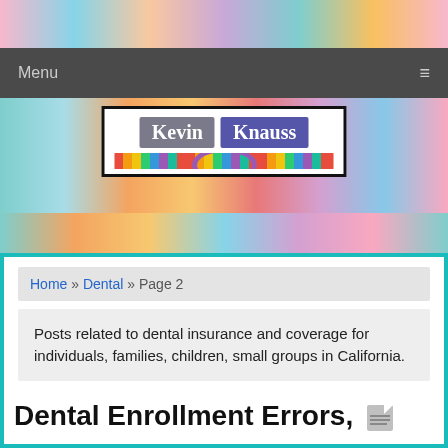Menu
[Figure (logo): Kevin Knauss logo with colorful stripes]
Home » Dental » Page 2
Posts related to dental insurance and coverage for individuals, families, children, small groups in California.
Dental Enrollment Errors,